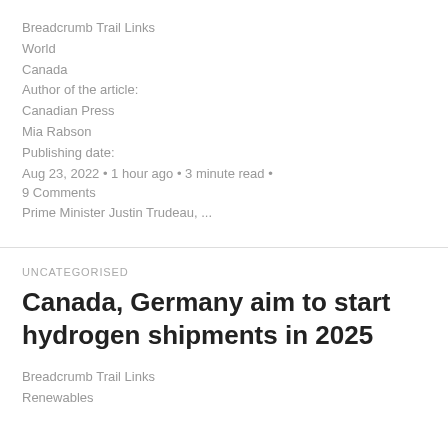Breadcrumb Trail Links
World
Canada
Author of the article:
Canadian Press
Mia Rabson
Publishing date:
Aug 23, 2022 • 1 hour ago • 3 minute read • 9 Comments
Prime Minister Justin Trudeau, ...
UNCATEGORISED
Canada, Germany aim to start hydrogen shipments in 2025
Breadcrumb Trail Links
Renewables